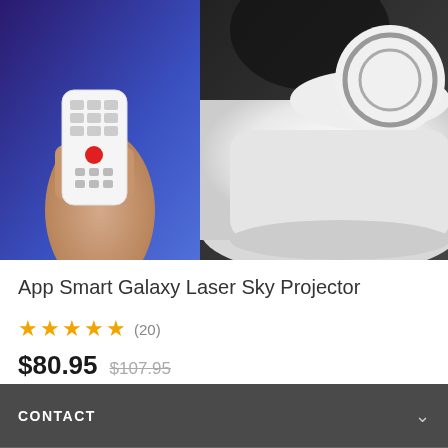[Figure (photo): Product photo showing a white cylindrical Galaxy Laser Sky Projector device alongside a hand holding a white TV remote control with a red button. Background shows blue/purple ambient lighting.]
App Smart Galaxy Laser Sky Projector
★★★★★ (20)
$80.95  $107.95
CONTACT